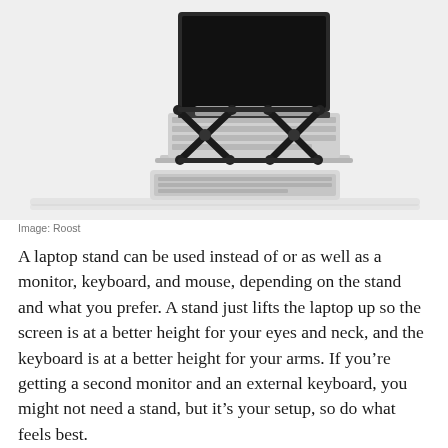[Figure (photo): A laptop elevated on a black foldable X-shaped stand (Roost brand), with a white Apple keyboard placed below it on a white surface. The laptop screen is dark/black, and the stand is made of black metal/plastic cross-braced legs.]
Image: Roost
A laptop stand can be used instead of or as well as a monitor, keyboard, and mouse, depending on the stand and what you prefer. A stand just lifts the laptop up so the screen is at a better height for your eyes and neck, and the keyboard is at a better height for your arms. If you’re getting a second monitor and an external keyboard, you might not need a stand, but it’s your setup, so do what feels best.